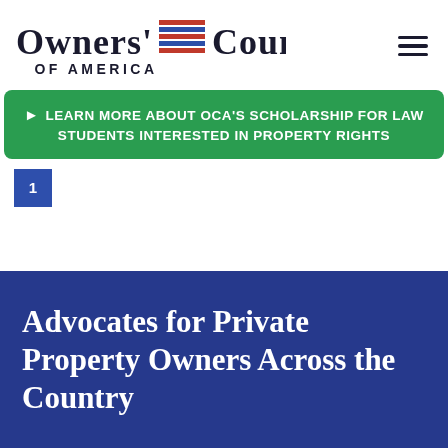[Figure (logo): Owners' Counsel of America logo with American flag graphic between 'OWNERS'' and 'COUNSEL', and 'OF AMERICA' below]
► LEARN MORE ABOUT OCA'S SCHOLARSHIP FOR LAW STUDENTS INTERESTED IN PROPERTY RIGHTS
1
Advocates for Private Property Owners Across the Country